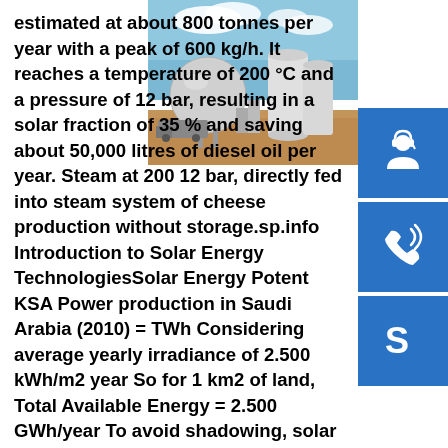[Figure (photo): Industrial storage facility with large spherical and cylindrical tanks, vehicles, sandy ground, blue sky with clouds]
estimated at about 800 tonnes per year with a peak of 600 kg/h. It reaches a temperature of 200 °C and a pressure of 12 bar, resulting in a solar fraction of 35 % and saving about 50,000 litres of diesel oil per year. Steam at 200 12 bar, directly fed into steam system of cheese production without storage.sp.info Introduction to Solar Energy TechnologiesSolar Energy Potential KSA Power production in Saudi Arabia (2010) = TWh Considering average yearly irradiance of 2.500 kWh/m2 year So for 1 km2 of land, Total Available Energy = 2.500 GWh/year To avoid shadowing, solar collectors can not cover all surface; assuming a land occupation factorsp.info A Student Introduction to Solar Energy - edXYear: PV Basics, PV Technology, and PV Systems. In addition the book also covers other forms of solar en-ergy, in particular Solar